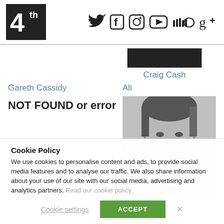4th — social media icons: Twitter, Facebook, Instagram, YouTube, SoundCloud, Google+
Craig Cash
Gareth Cassidy
Ali
NOT FOUND or error
[Figure (photo): Black and white portrait photo of a man]
Catterall
Cookie Policy
We use cookies to personalise content and ads, to provide social media features and to analyse our traffic. We also share information about your use of our site with our social media, advertising and analytics partners. Read our cookie policy
Cookie settings
ACCEPT
X